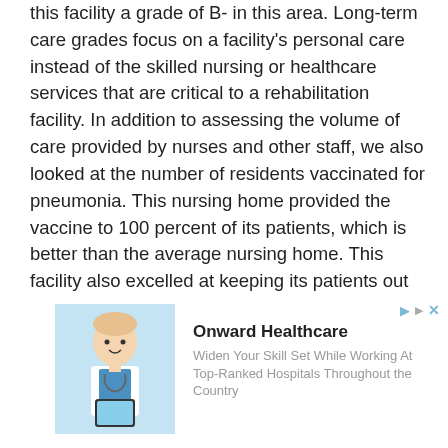this facility a grade of B- in this area. Long-term care grades focus on a facility's personal care instead of the skilled nursing or healthcare services that are critical to a rehabilitation facility. In addition to assessing the volume of care provided by nurses and other staff, we also looked at the number of residents vaccinated for pneumonia. This nursing home provided the vaccine to 100 percent of its patients, which is better than the average nursing home. This facility also excelled at keeping its patients out of the hospital. It had only 0.03 hospitalizations per 1,000 long-term resident days, which is a remarkably low number.
[Figure (photo): Advertisement image showing a smiling healthcare professional (child dressed as doctor) holding a tablet device]
Onward Healthcare
Widen Your Skill Set While Working At Top-Ranked Hospitals Throughout the Country